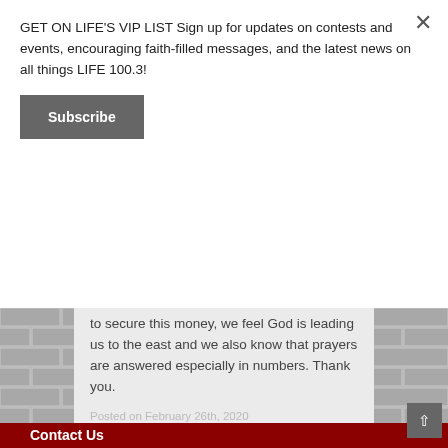GET ON LIFE'S VIP LIST Sign up for updates on contests and events, encouraging faith-filled messages, and the latest news on all things LIFE 100.3!
Subscribe
[Figure (screenshot): Brick wall background with a light grey card overlay showing quote text and date]
to secure this money, we feel God is leading us to the east and we also know that prayers are answered especially in numbers. Thank you.
Posted on February 26th, 2020
Contact Us